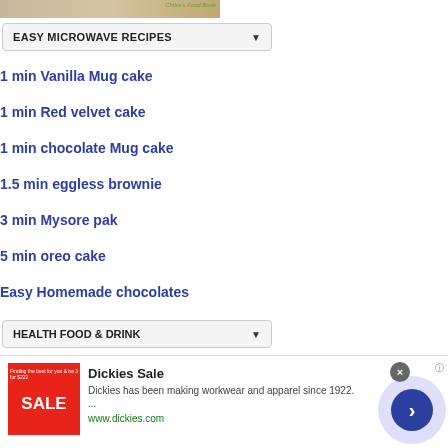[Figure (photo): Partial food image at top, partially cropped, with 'Chitra's Food Book' text overlay]
EASY MICROWAVE RECIPES
1 min Vanilla Mug cake
1 min Red velvet cake
1 min chocolate Mug cake
1.5 min eggless brownie
3 min Mysore pak
5 min oreo cake
Easy Homemade chocolates
HEALTH FOOD & DRINK
[Figure (photo): Partial food/drink image at bottom with colorful background]
[Figure (other): Advertisement banner: Dickies Sale - red SALE image, Dickies has been making workwear and apparel since 1922, www.dickies.com]